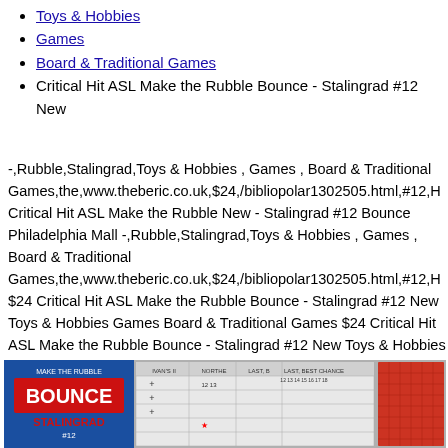Toys & Hobbies
Games
Board & Traditional Games
Critical Hit ASL Make the Rubble Bounce - Stalingrad #12 New
-,Rubble,Stalingrad,Toys & Hobbies , Games , Board & Traditional Games,the,www.theberic.co.uk,$24,/bibliopolar1302505.html,#12,H Critical Hit ASL Make the Rubble New - Stalingrad #12 Bounce Philadelphia Mall -,Rubble,Stalingrad,Toys & Hobbies , Games , Board & Traditional Games,the,www.theberic.co.uk,$24,/bibliopolar1302505.html,#12,H $24 Critical Hit ASL Make the Rubble Bounce - Stalingrad #12 New Toys & Hobbies Games Board & Traditional Games $24 Critical Hit ASL Make the Rubble Bounce - Stalingrad #12 New Toys & Hobbies Games Board & Traditional Games Critical Hit ASL Make the Rubble New - Stalingrad #12 Bounce Philadelphia Mall
[Figure (photo): Product photo showing the Critical Hit ASL Make the Rubble Bounce - Stalingrad #12 board game components including a blue box cover with red BOUNCE text, game cards including IVAN'S II, NORTHE, LAST B, LAST BEST CHANCE columns, and a red counter sheet.]